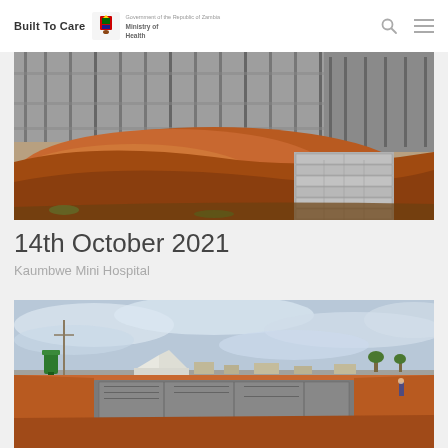Built To Care — Ministry of Health
[Figure (photo): Construction site showing a partially built structure with metal framing, piles of red/orange earth/soil, and stacks of concrete blocks/bricks in the foreground.]
14th October 2021
Kaumbwe Mini Hospital
[Figure (photo): Wide aerial/ground-level view of a construction site with red soil, a green water tank, white tents/temporary structures, and large concrete slabs being laid flat on the ground under a cloudy sky.]